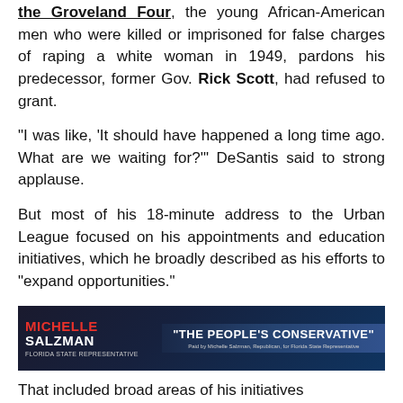the Groveland Four, the young African-American men who were killed or imprisoned for false charges of raping a white woman in 1949, pardons his predecessor, former Gov. Rick Scott, had refused to grant.
“I was like, ‘It should have happened a long time ago. What are we waiting for?’” DeSantis said to strong applause.
But most of his 18-minute address to the Urban League focused on his appointments and education initiatives, which he broadly described as his efforts to “expand opportunities.”
[Figure (photo): Advertisement banner for Michelle Salzman, Florida State Representative, with text 'THE PEOPLE'S CONSERVATIVE']
That included broad areas of his initiatives